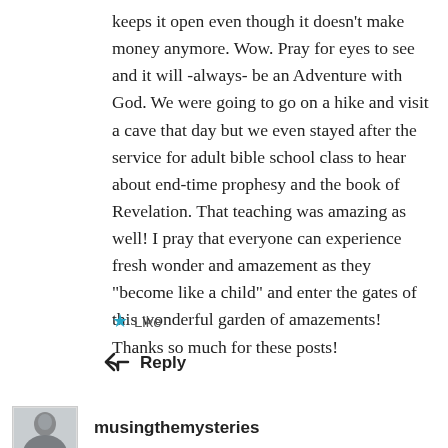keeps it open even though it doesn't make money anymore. Wow. Pray for eyes to see and it will -always- be an Adventure with God. We were going to go on a hike and visit a cave that day but we even stayed after the service for adult bible school class to hear about end-time prophesy and the book of Revelation. That teaching was amazing as well! I pray that everyone can experience fresh wonder and amazement as they "become like a child" and enter the gates of this wonderful garden of amazements! Thanks so much for these posts!
★ Like
↩ Reply
musingthemysteries